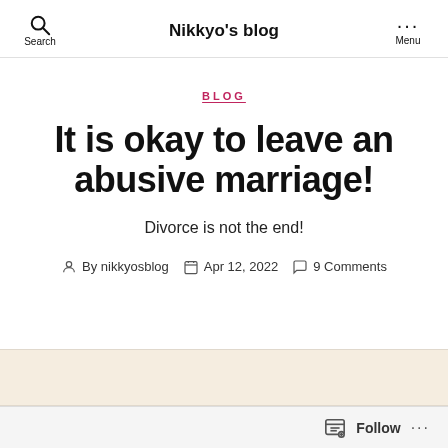Search | Nikkyo's blog | Menu
BLOG
It is okay to leave an abusive marriage!
Divorce is not the end!
By nikkyosblog  Apr 12, 2022  9 Comments
Follow